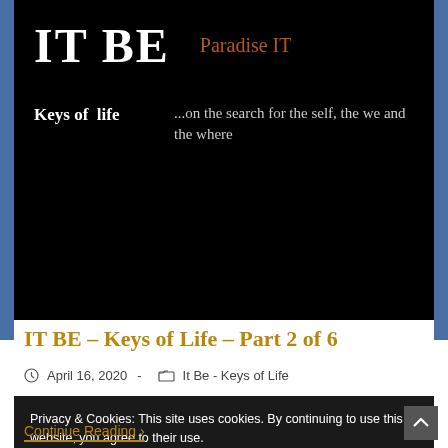[Figure (screenshot): Website header banner with black background showing 'IT BE' in large white bold text, 'Paradise IT' in orange/brown text, 'Keys of life' in white bold, and '...on the search for the self, the we and the where' in grey italic text]
IT BE – Keys of Life – Part 2 of 6
April 16, 2020  -  It Be - Keys of Life
Privacy & Cookies: This site uses cookies. By continuing to use this website, you agree to their use.
To find out more, including how to control cookies, see here: Privacy Policy
Close and accept
Continue Reading ›